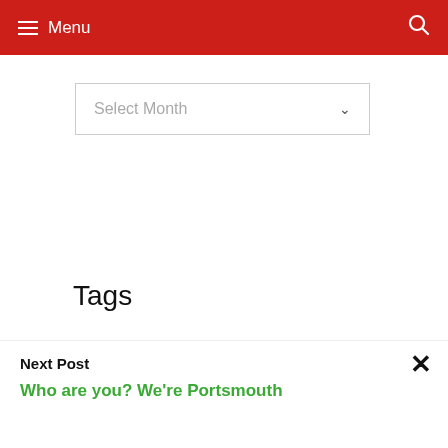Menu
Select Month
Tags
Bolton Wanderers Burnley Championship Chelsea David Moyes EFL Championship EFL
Next Post
Who are you? We're Portsmouth